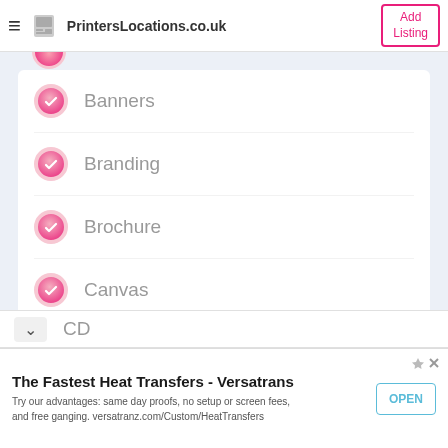PrintersLocations.co.uk  |  Add Listing
Banners
Branding
Brochure
Canvas
Cards
CD
The Fastest Heat Transfers - Versatrans
Try our advantages: same day proofs, no setup or screen fees, and free ganging. versatranz.com/Custom/HeatTransfers